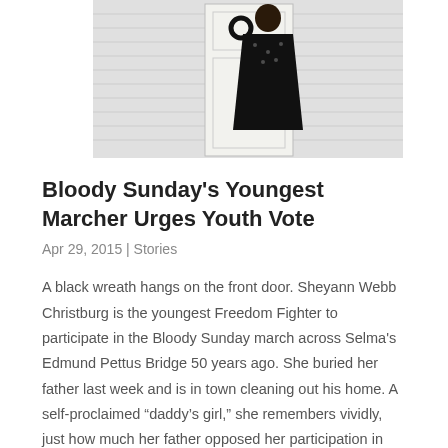[Figure (photo): A person in a black patterned top standing at a white front door with a black wreath hanging on it. The background shows white horizontal siding.]
Bloody Sunday's Youngest Marcher Urges Youth Vote
Apr 29, 2015 | Stories
A black wreath hangs on the front door. Sheyann Webb Christburg is the youngest Freedom Fighter to participate in the Bloody Sunday march across Selma's Edmund Pettus Bridge 50 years ago. She buried her father last week and is in town cleaning out his home. A self-proclaimed “daddy’s girl,” she remembers vividly, just how much her father opposed her participation in the march. However, her mind was made up. She was determined to join the fight for freedom at